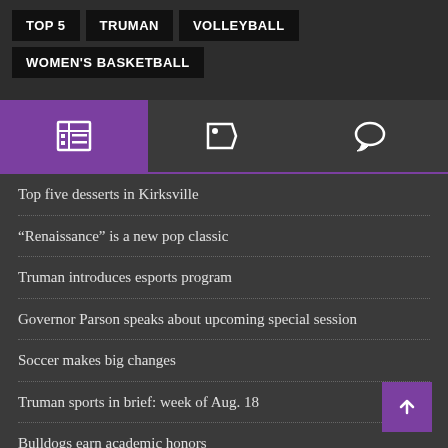TOP 5
TRUMAN
VOLLEYBALL
WOMEN'S BASKETBALL
[Figure (infographic): Tab bar with three icons: newspaper/articles tab (active, purple background), tag/label tab, and comment/speech bubble tab]
Top five desserts in Kirksville
“Renaissance” is a new pop classic
Truman introduces esports program
Governor Parson speaks about upcoming special session
Soccer makes big changes
Truman sports in brief: week of Aug. 18
Bulldogs earn academic honors
Football holds on to top players
StuGov Buzz: Positions open in StuGov